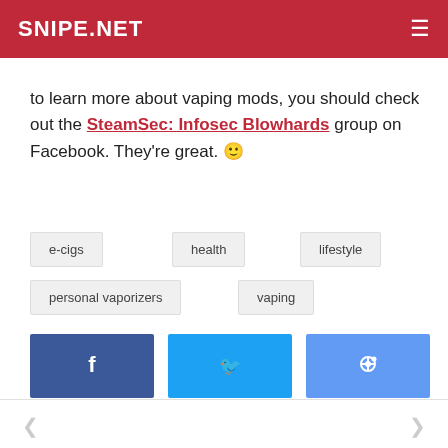SNIPE.NET
to learn more about vaping mods, you should check out the SteamSec: Infosec Blowhards group on Facebook. They're great. 🙂
e-cigs
health
lifestyle
personal vaporizers
vaping
[Figure (other): Social share buttons: Facebook (blue), Twitter (light blue), Reddit (medium blue)]